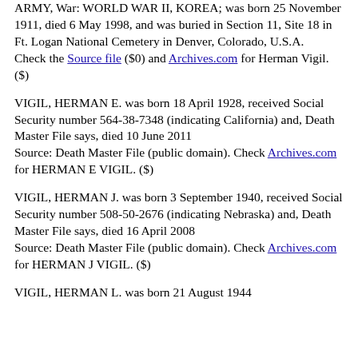ARMY, War: WORLD WAR II, KOREA; was born 25 November 1911, died 6 May 1998, and was buried in Section 11, Site 18 in Ft. Logan National Cemetery in Denver, Colorado, U.S.A.
Check the Source file ($0) and Archives.com for Herman Vigil. ($)
VIGIL, HERMAN E. was born 18 April 1928, received Social Security number 564-38-7348 (indicating California) and, Death Master File says, died 10 June 2011
Source: Death Master File (public domain). Check Archives.com for HERMAN E VIGIL. ($)
VIGIL, HERMAN J. was born 3 September 1940, received Social Security number 508-50-2676 (indicating Nebraska) and, Death Master File says, died 16 April 2008
Source: Death Master File (public domain). Check Archives.com for HERMAN J VIGIL. ($)
VIGIL, HERMAN L. was born 21 August 1944...